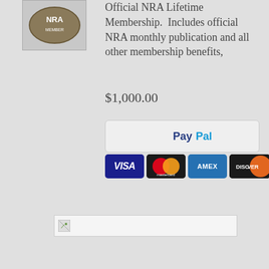[Figure (logo): NRA emblem/logo image (partially visible at top left)]
Official NRA Lifetime Membership.  Includes official NRA monthly publication and all other membership benefits,
$1,000.00
[Figure (other): PayPal checkout button]
[Figure (other): Payment card icons: VISA, Mastercard, AMEX, DISCOVER]
[Figure (other): Broken image placeholder (small icon with border box)]